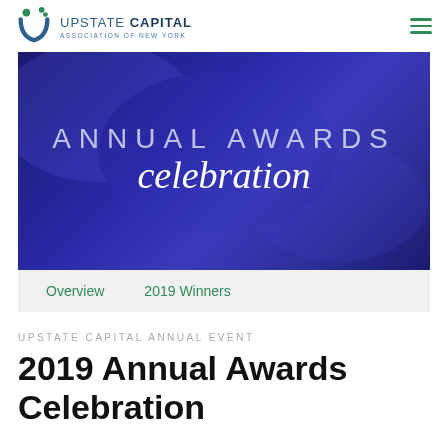UPSTATE CAPITAL ASSOCIATION OF NEW YORK
[Figure (illustration): Banner image with blue/purple gradient background showing 'ANNUAL AWARDS celebration' text in white]
Overview   2019 Winners
UPSTATE CAPITAL ANNUAL EVENT
2019 Annual Awards Celebration